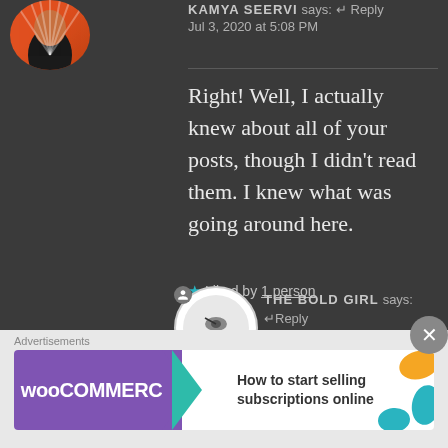KAMYA SEERVI says: Reply
Jul 3, 2020 at 5:08 PM
Right! Well, I actually knew about all of your posts, though I didn't read them. I knew what was going around here.
★ Liked by 1 person
THE BOLD GIRL says: Reply
Jul 3, 2020 at 5:16 PM
Hahaa.. You're same like me!😅
[Figure (screenshot): WooCommerce advertisement banner: 'How to start selling subscriptions online']